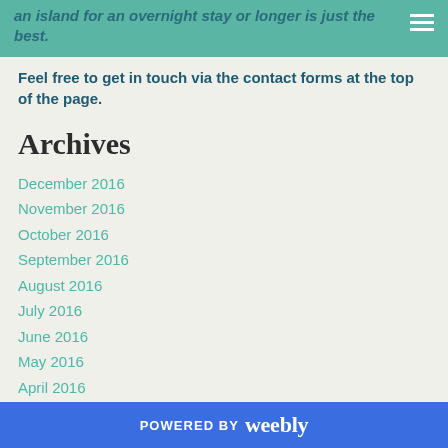an island for an overnight stay or longer is just the best.
Feel free to get in touch via the contact forms at the top of the page.
Archives
December 2016
November 2016
October 2016
September 2016
August 2016
July 2016
June 2016
May 2016
April 2016
March 2016
February 2016
POWERED BY weebly